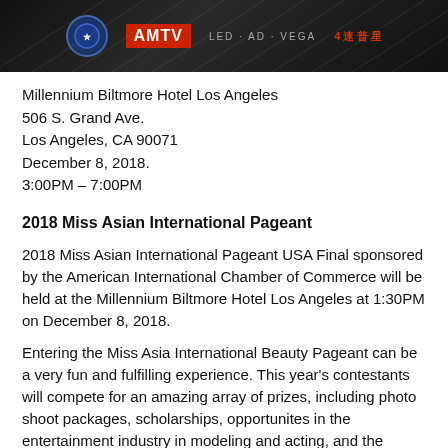[Figure (photo): Dark banner with logos including a blue circular emblem, AMTV red logo, text reading 'LED AD VEGA' and Chinese characters in red on dark background with diagonal line pattern]
Millennium Biltmore Hotel Los Angeles
506 S. Grand Ave.
Los Angeles, CA 90071
December 8, 2018.
3:00PM – 7:00PM
2018 Miss Asian International Pageant
2018 Miss Asian International Pageant USA Final sponsored by the American International Chamber of Commerce will be held at the Millennium Biltmore Hotel Los Angeles at 1:30PM on December 8, 2018.
Entering the Miss Asia International Beauty Pageant can be a very fun and fulfilling experience. This year's contestants will compete for an amazing array of prizes, including photo shoot packages, scholarships, opportunites in the entertainment industry in modeling and acting, and the prestige of a year-long reign as the title holder of the premier pageants.
In addition to the prizes, contestants will receive various